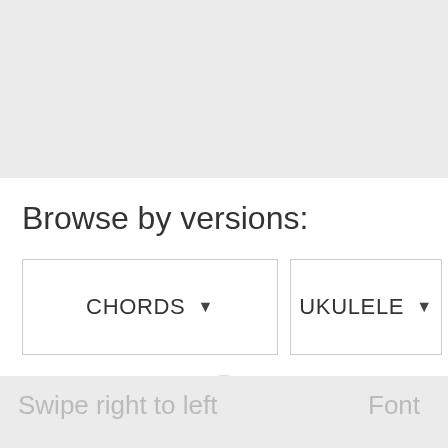[Figure (other): Gray banner/advertisement area at the top of the page]
Browse by versions:
[Figure (other): CHORDS dropdown button]
[Figure (other): UKULELE dropdown button]
Play "Julia" on Apple Music
Swipe right to left   Font